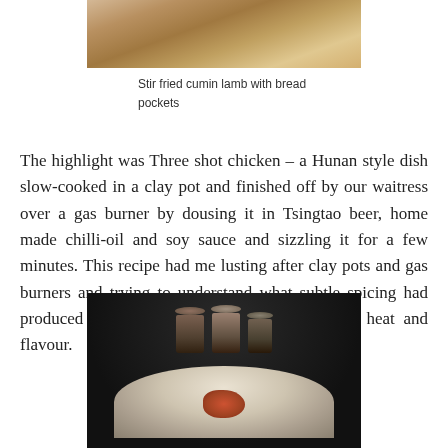[Figure (photo): Top portion of a photo showing stir fried cumin lamb with bread pockets — close-up of food with warm tan/brown tones]
Stir fried cumin lamb with bread pockets
The highlight was Three shot chicken – a Hunan style dish slow-cooked in a clay pot and finished off by our waitress over a gas burner by dousing it in Tsingtao beer, home made chilli-oil and soy sauce and sizzling it for a few minutes. This recipe had me lusting after clay pots and gas burners and trying to understand what subtle spicing had produced such a delicate combination of fiery heat and flavour.
[Figure (photo): Dark restaurant photo showing shot glasses on a white bowl/plate with a piece of red meat, taken in dim lighting]